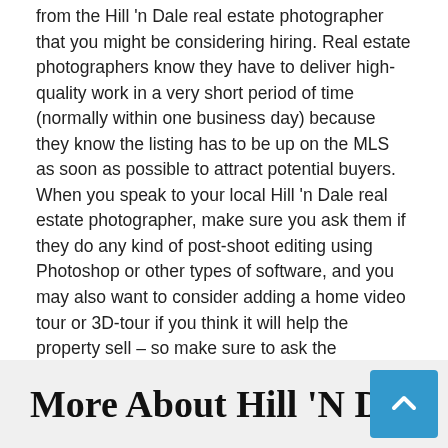from the Hill 'n Dale real estate photographer that you might be considering hiring. Real estate photographers know they have to deliver high-quality work in a very short period of time (normally within one business day) because they know the listing has to be up on the MLS as soon as possible to attract potential buyers. When you speak to your local Hill 'n Dale real estate photographer, make sure you ask them if they do any kind of post-shoot editing using Photoshop or other types of software, and you may also want to consider adding a home video tour or 3D-tour if you think it will help the property sell – so make sure to ask the photographer if they can provide those services.
Advertisement
More About Hill 'N Dale